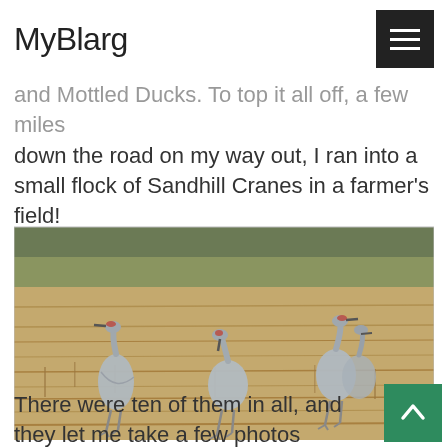MyBlarg
and Mottled Ducks.  To top it all off, a few miles down the road on my way out, I ran into a small flock of Sandhill Cranes in a farmer's field!
[Figure (photo): Photograph of Sandhill Cranes standing in a dry golden farmer's field. Several large grey birds are visible walking through tall dry grass with trees in the distant background.]
Sandhill Cranes
There were ten of them in all, and they let me take a few photos before walking away.  Such